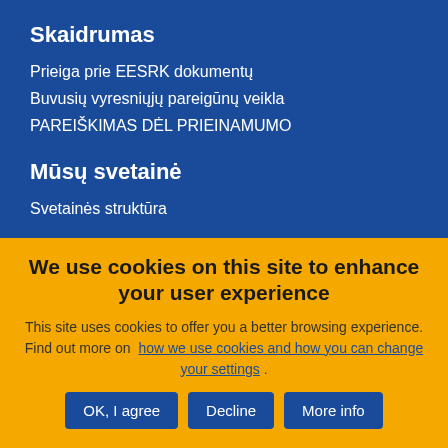Skaidrumas
Prieiga prie EESRK dokumentų
Buvusių vyresniųjų pareigūnų veikla
PAREIŠKIMAS DĖL PRIEINAMUMO
Mūsų svetainė
Svetainės struktūra
We use cookies on this site to enhance your user experience
This site uses cookies to offer you a better browsing experience. Find out more on how we use cookies and how you can change your settings .
OK, I agree | Decline | More info